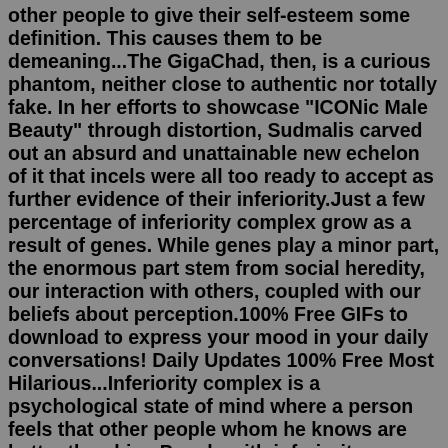other people to give their self-esteem some definition. This causes them to be demeaning...The GigaChad, then, is a curious phantom, neither close to authentic nor totally fake. In her efforts to showcase "ICONic Male Beauty" through distortion, Sudmalis carved out an absurd and unattainable new echelon of it that incels were all too ready to accept as further evidence of their inferiority.Just a few percentage of inferiority complex grow as a result of genes. While genes play a minor part, the enormous part stem from social heredity, our interaction with others, coupled with our beliefs about perception.100% Free GIFs to download to express your mood in your daily conversations! Daily Updates 100% Free Most Hilarious...Inferiority complex is a psychological state of mind where a person feels that other people whom he knows are better than him. People with inferiority complex do not like to participate in competitive activities as they doubt their ability. They feel their inability will be exposed to others.So a simple guy, who visits typical Russian stores can easily out the